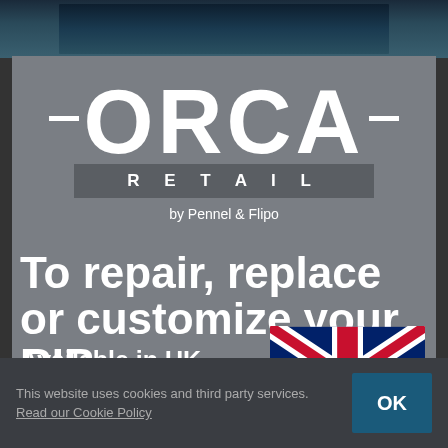[Figure (photo): Ocean/sea water background image strip at the top of the page]
[Figure (logo): ORCA RETAIL by Pennel & Flipo logo on gray background]
To repair, replace or customize your RIB
Available in UK
Express shipping
[Figure (illustration): UK Union Jack flag]
This website uses cookies and third party services. Read our Cookie Policy
OK